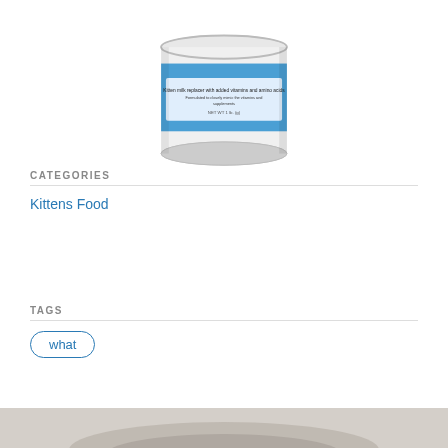[Figure (photo): Top portion of a white cylindrical pet food (kitten milk) can with blue label showing text about milk protein with added vitamins and amino acids]
CATEGORIES
Kittens Food
TAGS
what
[Figure (photo): Bottom portion of page showing a gray background with the top of what appears to be a kitten or cat image beginning to appear]